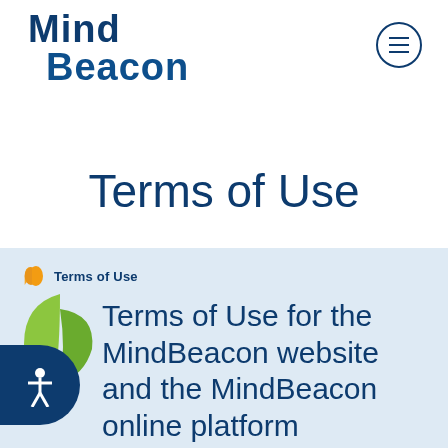[Figure (logo): MindBeacon logo in dark blue text]
[Figure (other): Hamburger menu button, circular border]
Terms of Use
Terms of Use
Terms of Use for the MindBeacon website and the MindBeacon online platform
Terms of Use for the MindBeacon website and the MindBeacon online Platform. These Terms of Use